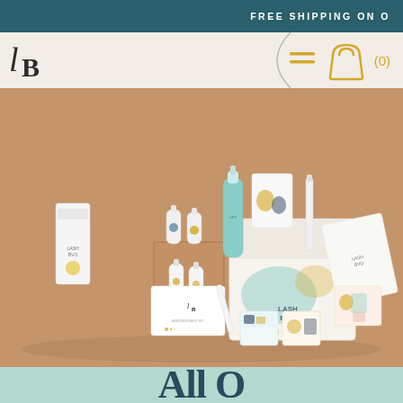FREE SHIPPING ON O
[Figure (logo): LB monogram logo in serif italic/bold style]
[Figure (infographic): Navigation icons: hamburger menu lines and shopping bag with (0) count, in gold/yellow color]
[Figure (photo): Product flatlay photo of Lash Byo beauty products including serums, boxes, and a branded kit case arranged on a tan/brown background]
All O...